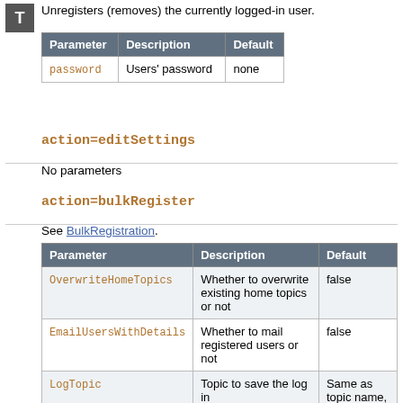Unregisters (removes) the currently logged-in user.
| Parameter | Description | Default |
| --- | --- | --- |
| password | Users' password | none |
action=editSettings
No parameters
action=bulkRegister
See BulkRegistration.
| Parameter | Description | Default |
| --- | --- | --- |
| OverwriteHomeTopics | Whether to overwrite existing home topics or not | false |
| EmailUsersWithDetails | Whether to mail registered users or not | false |
| LogTopic | Topic to save the log in | Same as topic name, with |